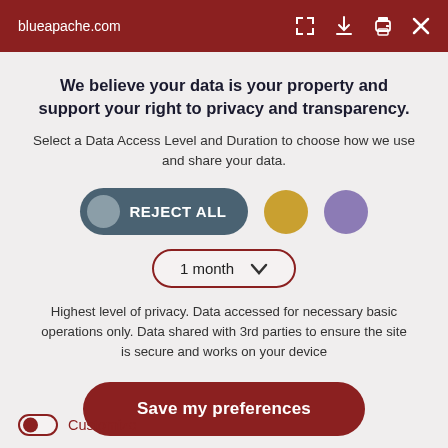blueapache.com
We believe your data is your property and support your right to privacy and transparency.
Select a Data Access Level and Duration to choose how we use and share your data.
[Figure (screenshot): Privacy consent dialog with REJECT ALL toggle button, two colored circles (gold and purple), and a '1 month' dropdown selector]
Highest level of privacy. Data accessed for necessary basic operations only. Data shared with 3rd parties to ensure the site is secure and works on your device
Save my preferences
Customize